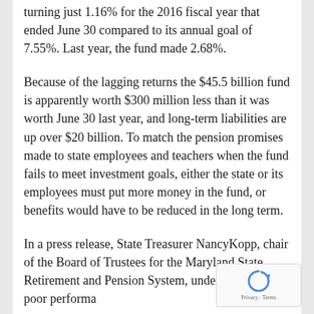turning just 1.16% for the 2016 fiscal year that ended June 30 compared to its annual goal of 7.55%. Last year, the fund made 2.68%.
Because of the lagging returns the $45.5 billion fund is apparently worth $300 million less than it was worth June 30 last year, and long-term liabilities are up over $20 billion. To match the pension promises made to state employees and teachers when the fund fails to meet investment goals, either the state or its employees must put more money in the fund, or benefits would have to be reduced in the long term.
In a press release, State Treasurer NancyKopp, chair of the Board of Trustees for the Maryland State Retirement and Pension System, underplayed the poor performa...